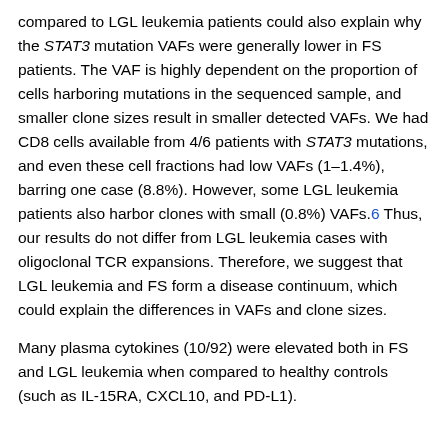compared to LGL leukemia patients could also explain why the STAT3 mutation VAFs were generally lower in FS patients. The VAF is highly dependent on the proportion of cells harboring mutations in the sequenced sample, and smaller clone sizes result in smaller detected VAFs. We had CD8 cells available from 4/6 patients with STAT3 mutations, and even these cell fractions had low VAFs (1–1.4%), barring one case (8.8%). However, some LGL leukemia patients also harbor clones with small (0.8%) VAFs.6 Thus, our results do not differ from LGL leukemia cases with oligoclonal TCR expansions. Therefore, we suggest that LGL leukemia and FS form a disease continuum, which could explain the differences in VAFs and clone sizes.
Many plasma cytokines (10/92) were elevated both in FS and LGL leukemia when compared to healthy controls (such as IL-15RA, CXCL10, and PD-L1).